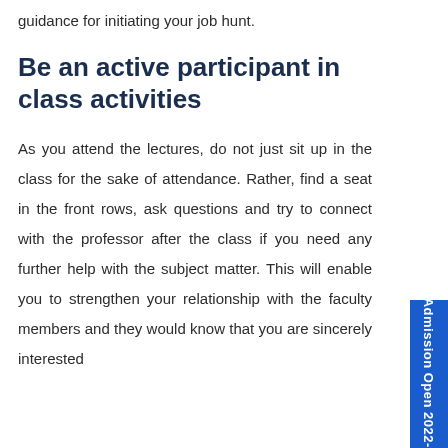guidance for initiating your job hunt.
Be an active participant in class activities
As you attend the lectures, do not just sit up in the class for the sake of attendance. Rather, find a seat in the front rows, ask questions and try to connect with the professor after the class if you need any further help with the subject matter. This will enable you to strengthen your relationship with the faculty members and they would know that you are sincerely interested
Admission Open 2022-23